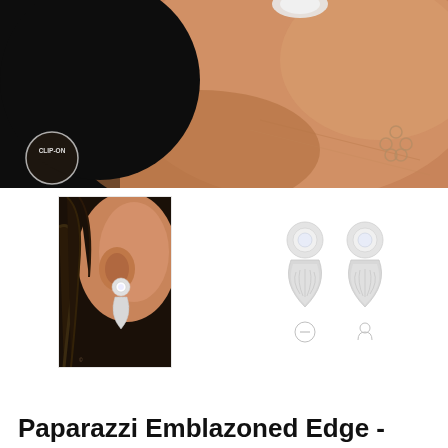[Figure (photo): Close-up photo of a woman's neck and ear area with a silver clip-on earring, dark background on left, warm brown skin tones. CLIP-ON badge circle visible bottom-left, Paparazzi logo bottom-right.]
[Figure (photo): Small photo of model wearing silver teardrop earring with rhinestone top, dark braided hair in background.]
[Figure (photo): Product photo showing two silver teardrop earrings with circular rhinestone tops on white background.]
Paparazzi Emblazoned Edge -